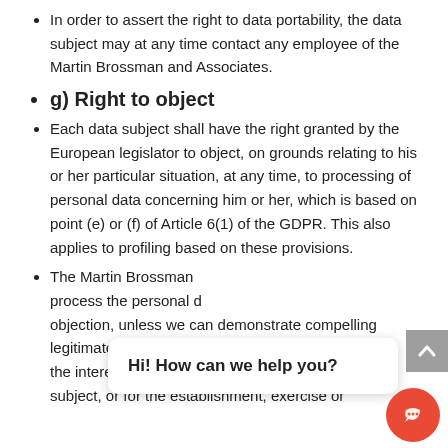In order to assert the right to data portability, the data subject may at any time contact any employee of the Martin Brossman and Associates.
g) Right to object
Each data subject shall have the right granted by the European legislator to object, on grounds relating to his or her particular situation, at any time, to processing of personal data concerning him or her, which is based on point (e) or (f) of Article 6(1) of the GDPR. This also applies to profiling based on these provisions.
The Martin Brossman ... process the personal d... objection, unless we can demonstrate compelling legitimate grounds for the processing which ov... the interests, rights and freedoms of the data subject, or for the establishment, exercise or